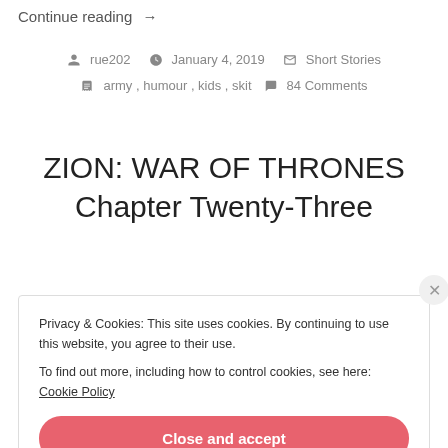Continue reading →
rue202  January 4, 2019  Short Stories
army, humour, kids, skit  84 Comments
ZION: WAR OF THRONES Chapter Twenty-Three
Privacy & Cookies: This site uses cookies. By continuing to use this website, you agree to their use.
To find out more, including how to control cookies, see here: Cookie Policy
Close and accept